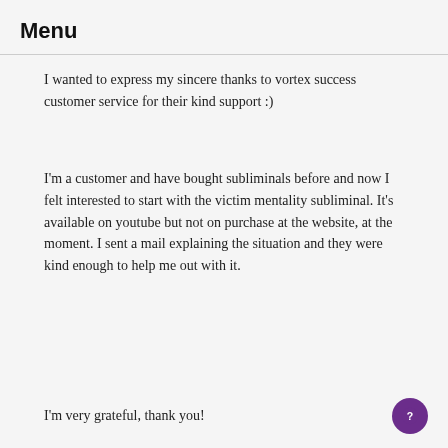Menu
I wanted to express my sincere thanks to vortex success customer service for their kind support :)
I'm a customer and have bought subliminals before and now I felt interested to start with the victim mentality subliminal. It's available on youtube but not on purchase at the website, at the moment. I sent a mail explaining the situation and they were kind enough to help me out with it.
I'm very grateful, thank you!